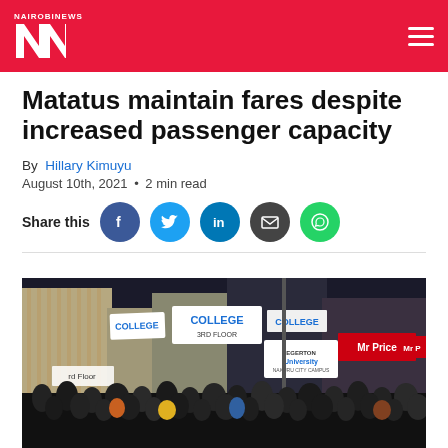NAIROBI NEWS NN
Matatus maintain fares despite increased passenger capacity
By Hillary Kimuyu
August 10th, 2021 • 2 min read
Share this
[Figure (photo): A crowd of people gathered at a street corner in Nairobi with signs visible including COLLEGE 3RD FLOOR, COLLEGE, Egerton University, and Mr Price storefronts.]